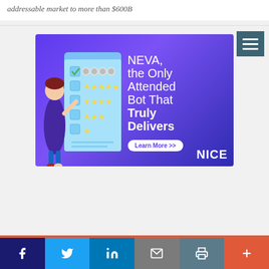addressable market to more than $600B
[Figure (illustration): Advertisement for NICE NEVA product. Purple gradient background with a 3D illustrated woman holding a checklist with robot icons and star ratings. Text reads: NEVA, the Only Attended Bot That Truly Delivers. Learn More >> button. NICE logo bottom right.]
Facebook | Twitter | LinkedIn | Email | Print | Plus